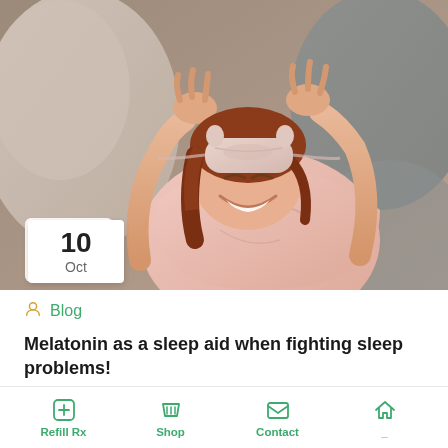[Figure (photo): Woman lying in bed wearing a pink cat-ear sleep mask pushed up on her forehead, laughing, wearing a pink satin robe, surrounded by grey bedding and pillows. Date badge showing '10 Oct' overlaid in lower left.]
Blog
Melatonin as a sleep aid when fighting sleep problems!
Sleeping is the most time-consuming activity humans are used to; this explains why many people are
Refill Rx   Shop   Contact   Home